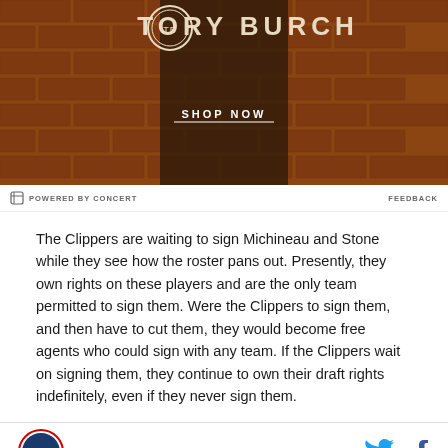[Figure (photo): Tory Burch advertisement banner with brick wall background and SHOP NOW text]
POWERED BY CONCERT   FEEDBACK
The Clippers are waiting to sign Michineau and Stone while they see how the roster pans out.  Presently, they own rights on these players and are the only team permitted to sign them.  Were the Clippers to sign them, and then have to cut them, they would become free agents who could sign with any team.  If the Clippers wait on signing them, they continue to own their draft rights indefinitely, even if they never sign them.
[Figure (logo): SB Nation Clips Nation logo and social media icons]